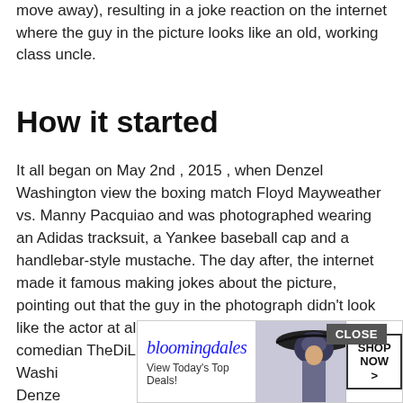move away), resulting in a joke reaction on the internet where the guy in the picture looks like an old, working class uncle.
How it started
It all began on May 2nd , 2015 , when Denzel Washington view the boxing match Floyd Mayweather vs. Manny Pacquiao and was photographed wearing an Adidas tracksuit, a Yankee baseball cap and a handlebar-style mustache. The day after, the internet made it famous making jokes about the picture, pointing out that the guy in the photograph didn't look like the actor at all. Soon after, on Twitter, the user and comedian TheDiLLOn1 tweeted “Hi. I’m D Washi Denze age of
[Figure (advertisement): Bloomingdales advertisement banner with logo, 'View Today's Top Deals!' tagline, woman in hat photo, and SHOP NOW > button]